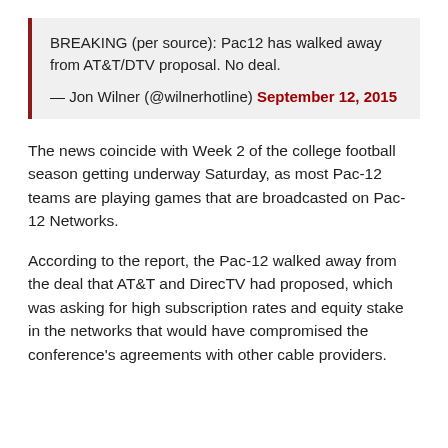BREAKING (per source): Pac12 has walked away from AT&T/DTV proposal. No deal.
— Jon Wilner (@wilnerhotline) September 12, 2015
The news coincide with Week 2 of the college football season getting underway Saturday, as most Pac-12 teams are playing games that are broadcasted on Pac-12 Networks.
According to the report, the Pac-12 walked away from the deal that AT&T and DirecTV had proposed, which was asking for high subscription rates and equity stake in the networks that would have compromised the conference's agreements with other cable providers.